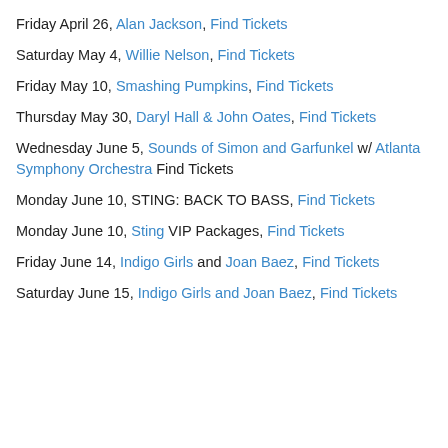Friday April 26, Alan Jackson, Find Tickets
Saturday May 4, Willie Nelson, Find Tickets
Friday May 10, Smashing Pumpkins, Find Tickets
Thursday May 30, Daryl Hall & John Oates, Find Tickets
Wednesday June 5, Sounds of Simon and Garfunkel w/ Atlanta Symphony Orchestra Find Tickets
Monday June 10, STING: BACK TO BASS, Find Tickets
Monday June 10, Sting VIP Packages, Find Tickets
Friday June 14, Indigo Girls and Joan Baez, Find Tickets
Saturday June 15, Indigo Girls and Joan Baez, Find Tickets